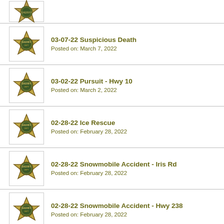[Figure (photo): Sheriff badge icon (partial entry at top)]
03-07-22 Suspicious Death
Posted on: March 7, 2022
03-02-22 Pursuit - Hwy 10
Posted on: March 2, 2022
02-28-22 Ice Rescue
Posted on: February 28, 2022
02-28-22 Snowmobile Accident - Iris Rd
Posted on: February 28, 2022
02-28-22 Snowmobile Accident - Hwy 238
Posted on: February 28, 2022